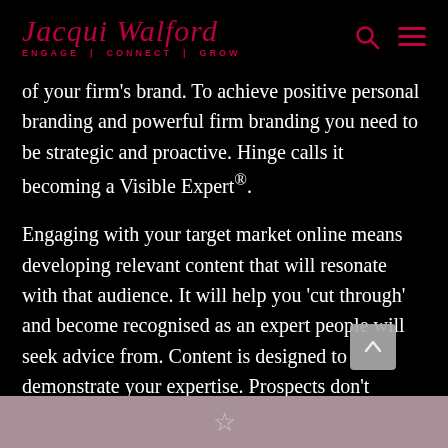Jacqui Walford ENGAGE | CONNECT | GROW
of your firm's brand. To achieve positive personal branding and powerful firm branding you need to be strategic and proactive. Hinge calls it becoming a Visible Expert®.
Engaging with your target market online means developing relevant content that will resonate with that audience. It will help you 'cut through' and become recognised as an expert people will seek advice from. Content is designed to demonstrate your expertise. Prospects don't usually start with a search for a service provider. It starts with a business problem and a Google search for answers. You need to be
★